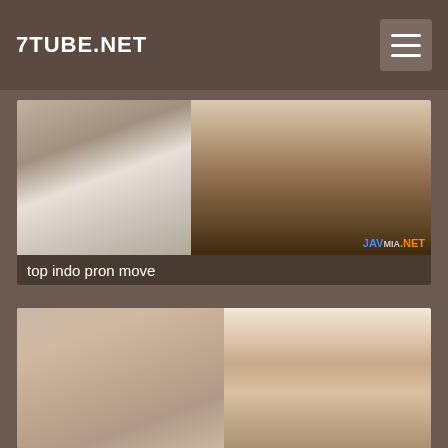7TUBE.NET
[Figure (screenshot): Video thumbnail showing a person in a striped garment, with a watermark reading JAV MIA.NET in the bottom right corner]
top indo pron move
[Figure (screenshot): Video thumbnail showing two people in close proximity]